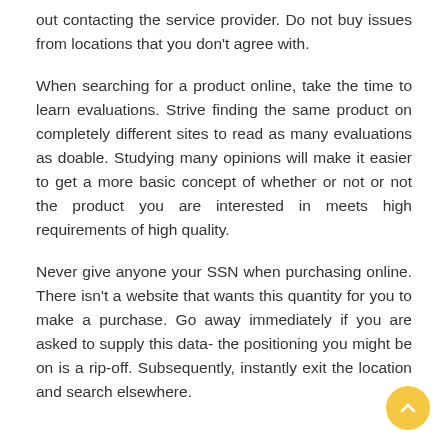out contacting the service provider. Do not buy issues from locations that you don't agree with.
When searching for a product online, take the time to learn evaluations. Strive finding the same product on completely different sites to read as many evaluations as doable. Studying many opinions will make it easier to get a more basic concept of whether or not or not the product you are interested in meets high requirements of high quality.
Never give anyone your SSN when purchasing online. There isn't a website that wants this quantity for you to make a purchase. Go away immediately if you are asked to supply this data- the positioning you might be on is a rip-off. Subsequently, instantly exit the location and search elsewhere.